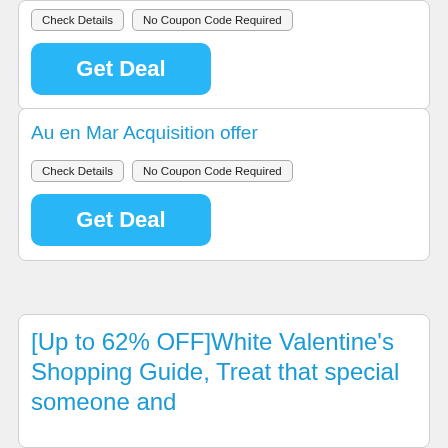Check Details | No Coupon Code Required
Get Deal
Au en Mar Acquisition offer
Check Details | No Coupon Code Required
Get Deal
[Up to 62% OFF]White Valentine's Shopping Guide, Treat that special someone and ...